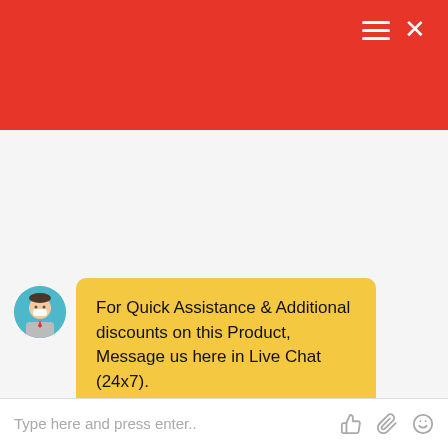For Quick Assistance & Additional discounts on this Product, Message us here in Live Chat (24x7).

"Customized Servers"

"Test Before Buying"

"Price Match Promise"
01:17
Type here and press enter..